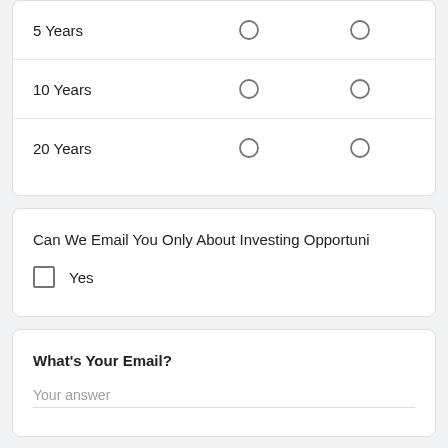|  |  |  |
| --- | --- | --- |
| 5 Years | ○ | ○ |
| 10 Years | ○ | ○ |
| 20 Years | ○ | ○ |
Can We Email You Only About Investing Opportuni...
Yes
What's Your Email?
Your answer